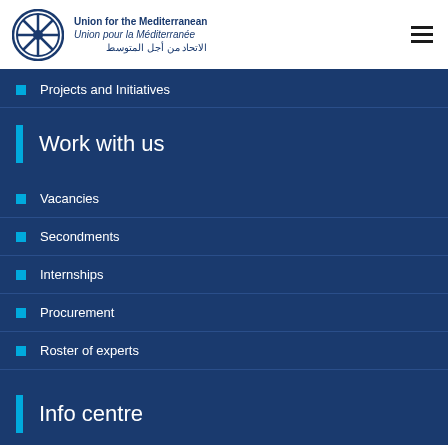Union for the Mediterranean / Union pour la Méditerranée / الاتحاد من أجل المتوسط
Projects and Initiatives
Work with us
Vacancies
Secondments
Internships
Procurement
Roster of experts
Info centre